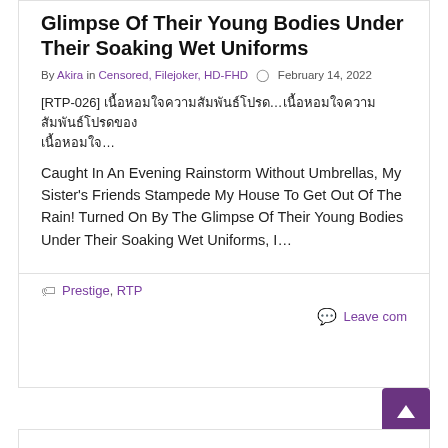Glimpse Of Their Young Bodies Under Their Soaking Wet Uniforms
By Akira in Censored, Filejoker, HD-FHD ○ February 14, 2022
[RTP-026] เนื้อหอมใจความสัมพันธ์โปรด...เนื้อหอมใจความสัมพันธ์โปรด...
Caught In An Evening Rainstorm Without Umbrellas, My Sister's Friends Stampede My House To Get Out Of The Rain! Turned On By The Glimpse Of Their Young Bodies Under Their Soaking Wet Uniforms, I...
Prestige, RTP
Leave comment